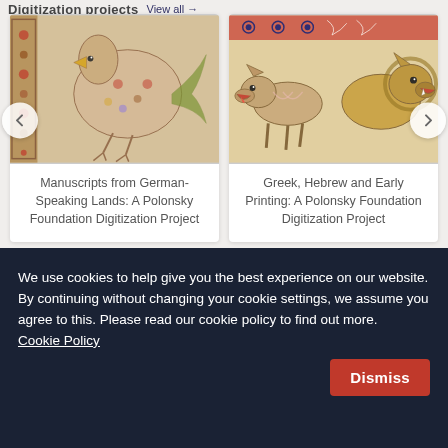Digitization projects  View all →
[Figure (photo): Illuminated manuscript page showing decorative animals and patterns from German-speaking lands]
Manuscripts from German-Speaking Lands: A Polonsky Foundation Digitization Project
[Figure (photo): Illuminated manuscript page showing a wolf-like creature and a lion-like creature with decorative border]
Greek, Hebrew and Early Printing: A Polonsky Foundation Digitization Project
We use cookies to help give you the best experience on our website. By continuing without changing your cookie settings, we assume you agree to this. Please read our cookie policy to find out more.
Cookie Policy